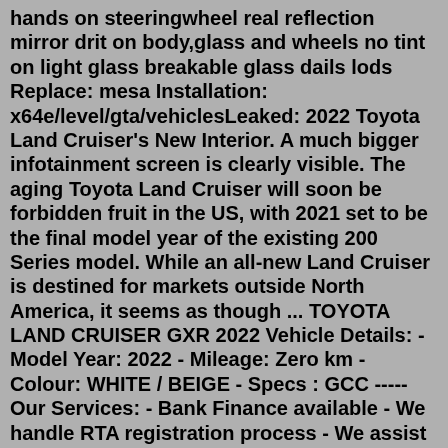hands on steeringwheel real reflection mirror drit on body,glass and wheels no tint on light glass breakable glass dails lods Replace: mesa Installation: x64e/level/gta/vehiclesLeaked: 2022 Toyota Land Cruiser's New Interior. A much bigger infotainment screen is clearly visible. The aging Toyota Land Cruiser will soon be forbidden fruit in the US, with 2021 set to be the final model year of the existing 200 Series model. While an all-new Land Cruiser is destined for markets outside North America, it seems as though ... TOYOTA LAND CRUISER GXR 2022 Vehicle Details: - Model Year: 2022 - Mileage: Zero km - Colour: WHITE / BEIGE - Specs : GCC ----- Our Services: - Bank Finance available - We handle RTA registration process - We assist with car insurance - We accept Exchange Cars (Depending on the cars) - Shipping and ... Interior Color: Beige; Model Year: 2022 ...The forthcoming 2024 Toyota Land Cruiser Prado will get a hybrid system from the Toyota Crown model. This means the SUV will use a 2.4-liter turbo-four engine in combination with an